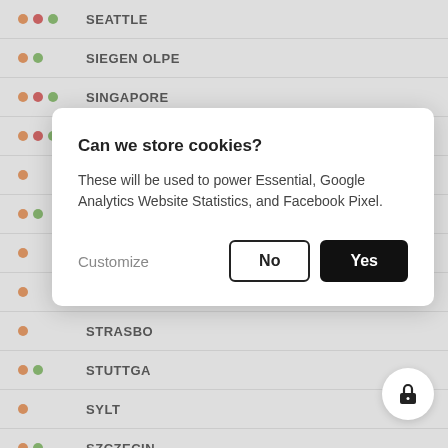SEATTLE
SIEGEN OLPE
SINGAPORE
SOFIA
SPLIT
ST. POELT…
STARNBE…
STOCKHO…
STRASBO…
STUTTGA…
SYLT
SZCZECIN
TALLINN
TAMPERE
Can we store cookies? These will be used to power Essential, Google Analytics Website Statistics, and Facebook Pixel. Customize No Yes